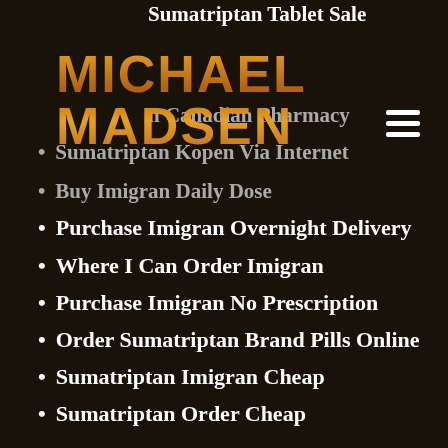Sumatriptan Tablet Sale
MICHAEL MADSEN
Sumatriptan Canadian Pharmacy
Sumatriptan Kopen Via Internet
Buy Imigran Daily Dose
Purchase Imigran Overnight Delivery
Where I Can Order Imigran
Purchase Imigran No Prescription
Order Sumatriptan Brand Pills Online
Sumatriptan Imigran Cheap
Sumatriptan Order Cheap
Quanto Costa Sumatriptan Farmacia Italiana
Where To Order Online Imigran Norge
Cheapest Sumatriptan Online
Generic Imigran Price
Achat Imigran Sur
Where To Order Cheap Imigran Spain